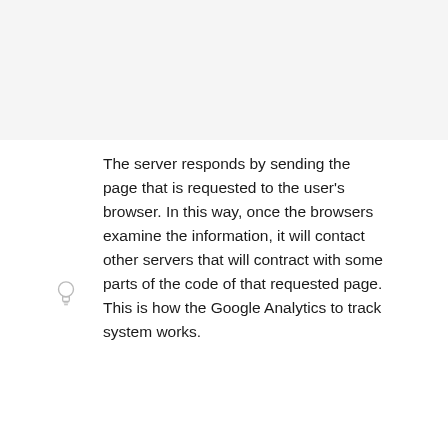The server responds by sending the page that is requested to the user's browser. In this way, once the browsers examine the information, it will contact other servers that will contract with some parts of the code of that requested page. This is how the Google Analytics to track system works.